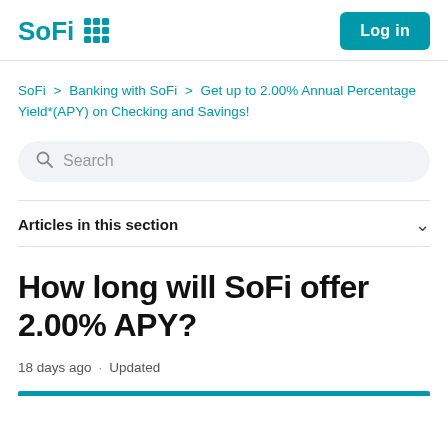[Figure (logo): SoFi logo with teal text and 3x3 grid icon]
Log in
SoFi > Banking with SoFi > Get up to 2.00% Annual Percentage Yield*(APY) on Checking and Savings!
Search
Articles in this section
How long will SoFi offer 2.00% APY?
18 days ago · Updated